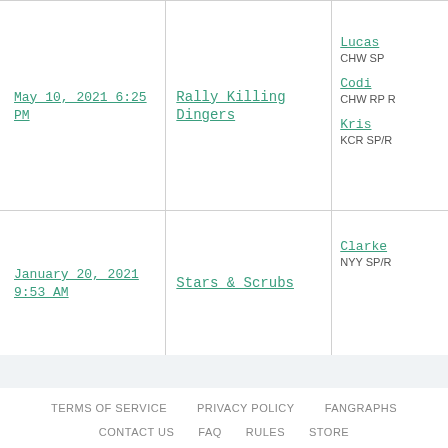| Date | Title | Players |
| --- | --- | --- |
| May 10, 2021 6:25 PM | Rally Killing Dingers | Lucas...
CHW SP
Codi...
CHW RP R
Kris...
KCR SP/R |
| January 20, 2021 9:53 AM | Stars & Scrubs | Clarke...
NYY SP/R |
TERMS OF SERVICE   PRIVACY POLICY   FANGRAPHS   CONTACT US   FAQ   RULES   STORE